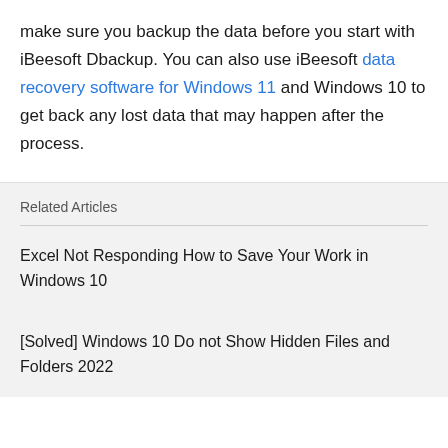make sure you backup the data before you start with iBeesoft Dbackup. You can also use iBeesoft data recovery software for Windows 11 and Windows 10 to get back any lost data that may happen after the process.
Related Articles
Excel Not Responding How to Save Your Work in Windows 10
[Solved] Windows 10 Do not Show Hidden Files and Folders 2022